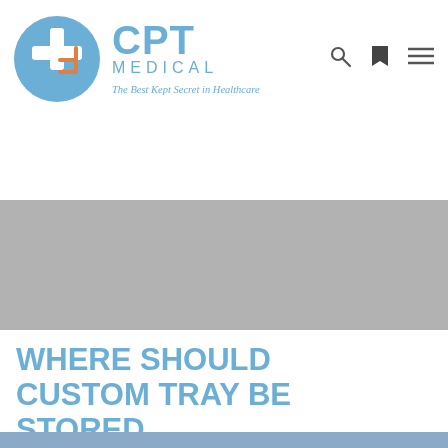[Figure (logo): CPT Medical logo with circular blue and orange cross icon, text reading CPT MEDICAL and tagline The Best Kept Secret in Healthcare]
[Figure (other): Grey banner / hero image placeholder area]
WHERE SHOULD CUSTOM TRAY BE STORED
[Figure (photo): Partial bottom strip of a medical photo, blue/purple tones]